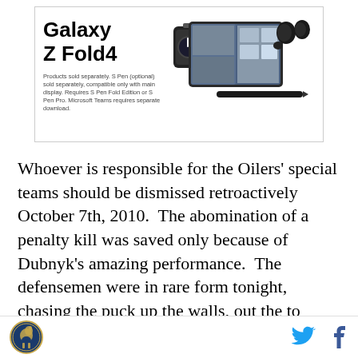[Figure (advertisement): Samsung Galaxy Z Fold4 advertisement showing the phone, tablet, earbuds and S Pen. Text: 'Galaxy Z Fold4'. Fine print: 'Products sold separately. S Pen (optional) sold separately, compatible only with main display. Requires S Pen Fold Edition or S Pen Pro. Microsoft Teams requires separate download.']
Whoever is responsible for the Oilers' special teams should be dismissed retroactively October 7th, 2010.  The abomination of a penalty kill was saved only because of Dubnyk's amazing performance.  The defensemen were in rare form tonight, chasing the puck up the walls, out the to points and to the half-boards every time they were a man down.  Unless seven guys have all suddenly come down with CTFP Syndrome all at once, the horrible penalty kill is not a
SB Nation logo | Twitter icon | Facebook icon